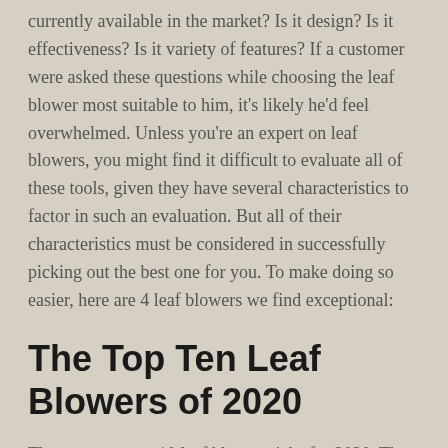currently available in the market? Is it design? Is it effectiveness? Is it variety of features? If a customer were asked these questions while choosing the leaf blower most suitable to him, it's likely he'd feel overwhelmed. Unless you're an expert on leaf blowers, you might find it difficult to evaluate all of these tools, given they have several characteristics to factor in such an evaluation. But all of their characteristics must be considered in successfully picking out the best one for you. To make doing so easier, here are 4 leaf blowers we find exceptional:
The Top Ten Leaf Blowers of 2020
These are our top 10 leaf blower picks for 2020. They range in style and cost.